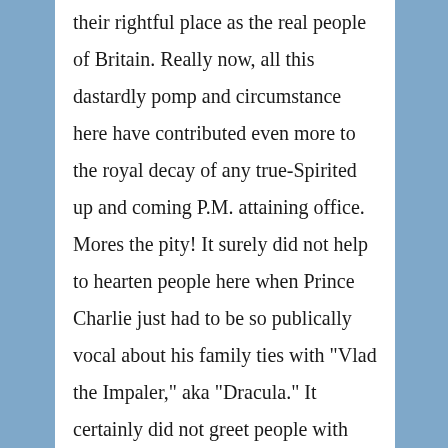their rightful place as the real people of Britain. Really now, all this dastardly pomp and circumstance here have contributed even more to the royal decay of any true-Spirited up and coming P.M. attaining office. Mores the pity! It surely did not help to hearten people here when Prince Charlie just had to be so publically vocal about his family ties with "Vlad the Impaler," aka "Dracula." It certainly did not greet people with joy here when they saw the family resemblance either. I feel so sorry for the conditions my people are